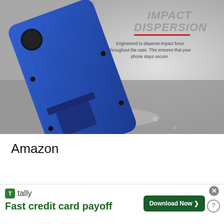[Figure (photo): A blue rugged phone case (iPhone) with a kickstand, shown dropping onto a rocky/wet surface with shattered fragments. Text overlay reads 'IMPACT DISPERSION' in italic metallic letters with a red underline, and below it: 'Engineered to disperse impact force throughout the case. This ensures that your phone stays secure.']
Amazon
[Figure (screenshot): Advertisement banner for Tally app. Shows Tally logo (green square with T), 'tally' text, 'Fast credit card payoff' tagline in green, a 'Download Now' button in dark green with arrow, an X close button, and a help (?) circle icon.]